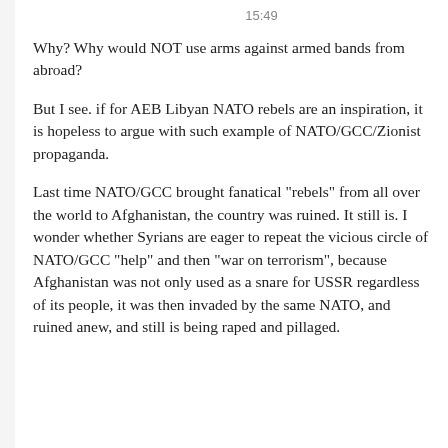15:49
Why? Why would NOT use arms against armed bands from abroad?
But I see. if for AEB Libyan NATO rebels are an inspiration, it is hopeless to argue with such example of NATO/GCC/Zionist propaganda.
Last time NATO/GCC brought fanatical "rebels" from all over the world to Afghanistan, the country was ruined. It still is. I wonder whether Syrians are eager to repeat the vicious circle of NATO/GCC "help" and then "war on terrorism", because Afghanistan was not only used as a snare for USSR regardless of its people, it was then invaded by the same NATO, and ruined anew, and still is being raped and pillaged.